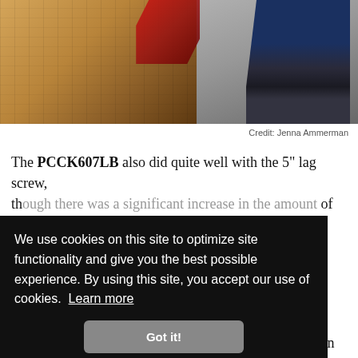[Figure (photo): Close-up photo of a person drilling screws into a wooden board, with one foot in a dark sneaker visible on the right and ground surface visible]
Credit: Jenna Ammerman
The PCCK607LB also did quite well with the 5" lag screw, though there was significant increase in the amount of ...hole ...to ...bugh ...egin to ...about ...ve the screw to its full depth, it just took a bit of convincing on our
We use cookies on this site to optimize site functionality and give you the best possible experience. By using this site, you accept our use of cookies.  Learn more
Got it!